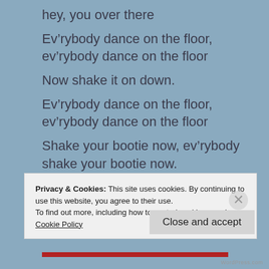hey, you over there
Ev’rybody dance on the floor, ev’rybody dance on the floor
Now shake it on down.
Ev’rybody dance on the floor, ev’rybody dance on the floor
Shake your bootie now, ev’rybody shake your bootie now.
ev’rybody shake your bootie now.
Do, do do do do do do do do do do
Privacy & Cookies: This site uses cookies. By continuing to use this website, you agree to their use.
To find out more, including how to control cookies, see here: Cookie Policy
Close and accept